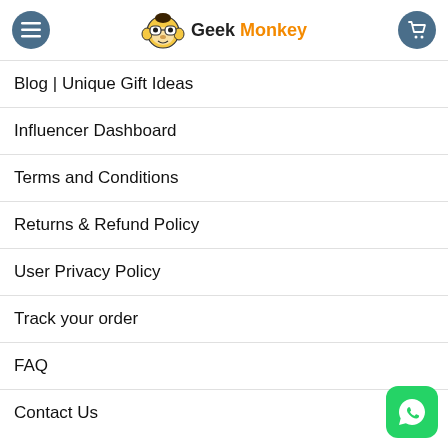Geek Monkey — navigation header with menu and cart buttons
Blog | Unique Gift Ideas
Influencer Dashboard
Terms and Conditions
Returns & Refund Policy
User Privacy Policy
Track your order
FAQ
Contact Us
FESTIVALS
Rakhi Gifts